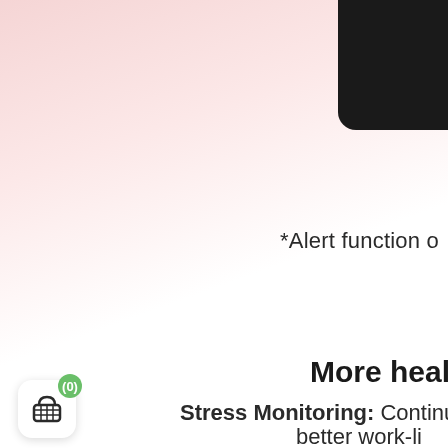[Figure (photo): Dark smartwatch device corner visible at top right of page against a pink-to-white gradient background.]
*Alert function o
More health
Stress Monitoring: Continuous str
better work-li
[Figure (illustration): Shopping basket icon with green badge showing (0) count in bottom left corner of the page.]